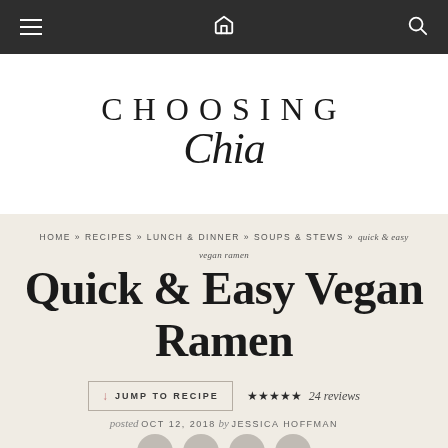Navigation bar with hamburger menu, home icon, and search icon
CHOOSING Chia
HOME » RECIPES » LUNCH & DINNER » SOUPS & STEWS » quick & easy vegan ramen
Quick & Easy Vegan Ramen
↓ JUMP TO RECIPE  ★★★★★ 24 reviews
posted OCT 12, 2018 by JESSICA HOFFMAN